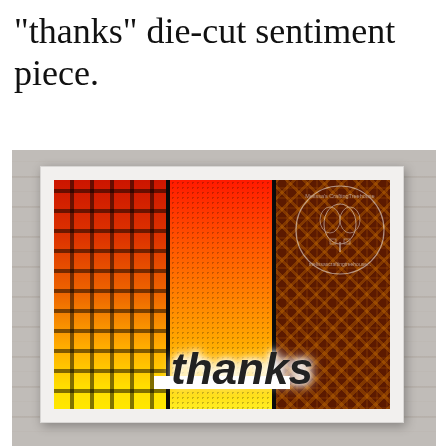"thanks" die-cut sentiment piece.
[Figure (photo): A handmade greeting card featuring three vertical patterned panels (plaid in red/orange/yellow, gradient dot in red/orange/yellow, and geometric pattern in dark brown/gold) on a black background with a white die-cut 'thanks' sentiment across the bottom center, displayed on a gray wood surface. A watermark reading 'Melissa's Crafting Treehouse' with a tree logo overlays the top right.]